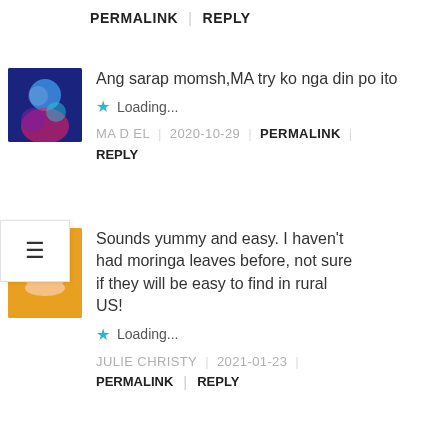PERMALINK | REPLY
Ang sarap momsh,MA try ko nga din po ito
Loading...
MA D EL | 2020-10-29 | PERMALINK | REPLY
Sounds yummy and easy. I haven't had moringa leaves before, not sure if they will be easy to find in rural US!
Loading...
JULIE CHRISTY | 2021-01-23 | PERMALINK | REPLY